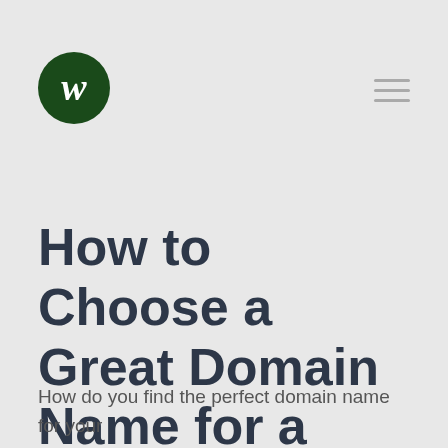W
How to Choose a Great Domain Name for a Website?!
How do you find the perfect domain name for your